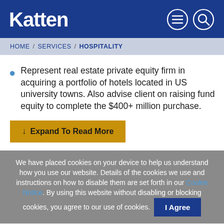Katten
HOME / SERVICES / HOSPITALITY
Represent real estate private equity firm in acquiring a portfolio of hotels located in US university towns. Also advise client on raising fund equity to complete the $400+ million purchase.
↓ Expand To Read More
We have placed cookies on your device to help us understand how you use our website. Details of the cookies we use and instructions on how to disable them are set forth in our Cookie Notice. By using this website without disabling or blocking cookies, you agree to our use of cookies. I Agree